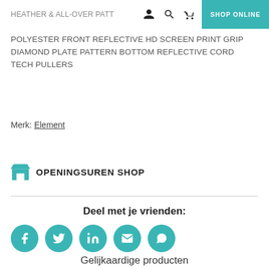HEATHER & ALL-OVER PATT  [icons: person, search, cart]  SHOP ONLINE
POLYESTER FRONT REFLECTIVE HD SCREEN PRINT GRIP DIAMOND PLATE PATTERN BOTTOM REFLECTIVE CORD TECH PULLERS
Merk: Element
OPENINGSUREN SHOP
Deel met je vrienden:
[Figure (infographic): Five teal circular social share buttons: Facebook, Twitter, LinkedIn, Email, WhatsApp]
Gelijkaardige producten